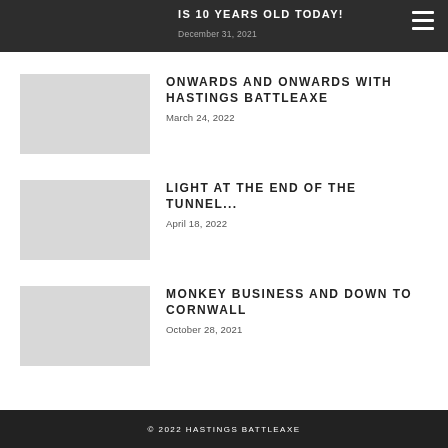IS 10 YEARS OLD TODAY! December 31, 2021
ONWARDS AND ONWARDS WITH HASTINGS BATTLEAXE
March 24, 2022
LIGHT AT THE END OF THE TUNNEL...
April 18, 2022
MONKEY BUSINESS AND DOWN TO CORNWALL
October 28, 2021
© 2022 HASTINGS BATTLEAXE